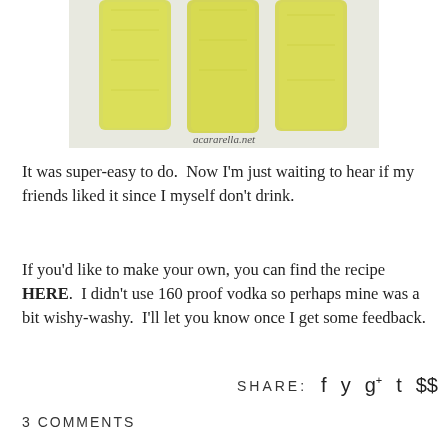[Figure (photo): Three yellow-green mason jars filled with liquid, viewed from above on a light background. Watermark text 'acararella.net' visible at bottom of image.]
It was super-easy to do.  Now I'm just waiting to hear if my friends liked it since I myself don't drink.
If you'd like to make your own, you can find the recipe HERE.  I didn't use 160 proof vodka so perhaps mine was a bit wishy-washy.  I'll let you know once I get some feedback.
SHARE:
3 COMMENTS